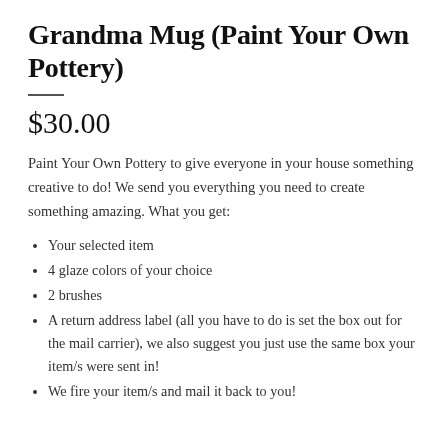Grandma Mug (Paint Your Own Pottery)
$30.00
Paint Your Own Pottery to give everyone in your house something creative to do! We send you everything you need to create something amazing. What you get:
Your selected item
4 glaze colors of your choice
2 brushes
A return address label (all you have to do is set the box out for the mail carrier), we also suggest you just use the same box your item/s were sent in!
We fire your item/s and mail it back to you!